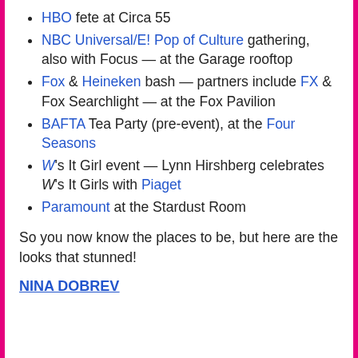HBO fete at Circa 55
NBC Universal/E! Pop of Culture gathering, also with Focus — at the Garage rooftop
Fox & Heineken bash — partners include FX & Fox Searchlight — at the Fox Pavilion
BAFTA Tea Party (pre-event), at the Four Seasons
W's It Girl event — Lynn Hirshberg celebrates W's It Girls with Piaget
Paramount at the Stardust Room
So you now know the places to be, but here are the looks that stunned!
NINA DOBREV